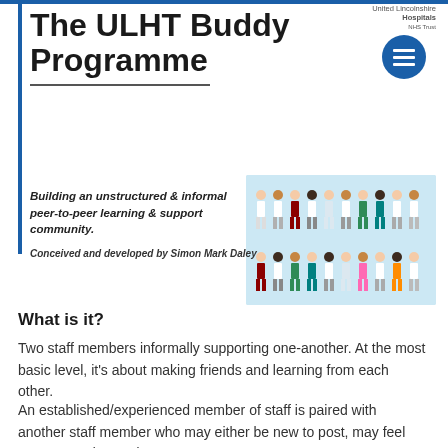The ULHT Buddy Programme
[Figure (illustration): Illustration of diverse medical staff members in two rows, wearing various uniforms including white coats, scrubs, and medical attire in multiple colors]
Building an unstructured & informal peer-to-peer learning & support community.
Conceived and developed by Simon Mark Daley
What is it?
Two staff members informally supporting one-another. At the most basic level, it's about making friends and learning from each other.
An established/experienced member of staff is paired with another staff member who may either be new to post, may feel unsupported or under-